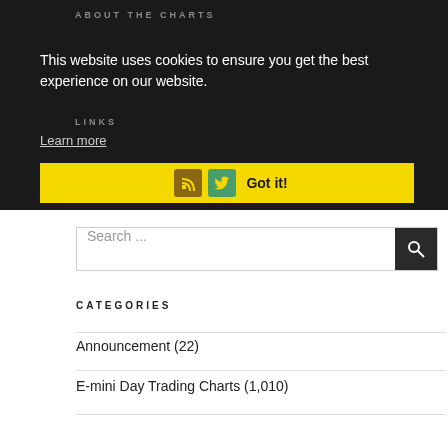ABOUT THE CHARTS
This website uses cookies to ensure you get the best experience on our website.
Learn more
LINKS
Got it!
Search ...
CATEGORIES
Announcement (22)
E-mini Day Trading Charts (1,010)